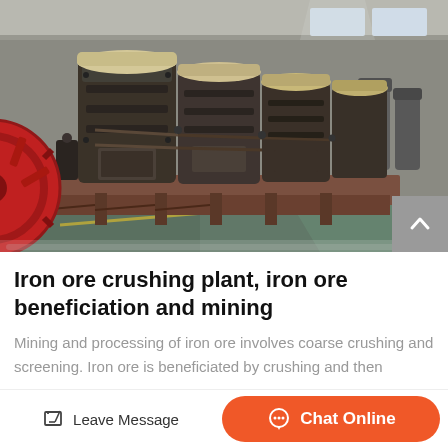[Figure (photo): Industrial iron ore crushing/grinding mill machines in a factory warehouse. Several large vertical cylindrical grinding mills (Raymond mills) on raised platforms, with a red flywheel visible on the left. Factory floor is green/teal. Background shows more machines and factory windows with natural light.]
Iron ore crushing plant, iron ore beneficiation and mining
Mining and processing of iron ore involves coarse crushing and screening. Iron ore is beneficiated by crushing and then